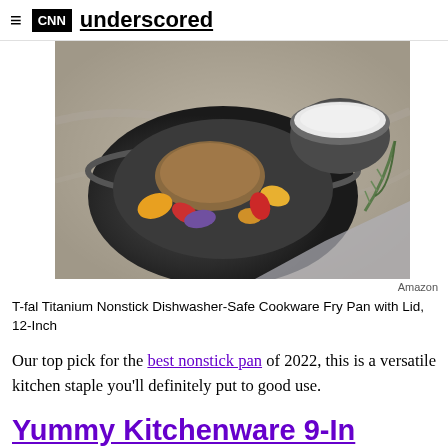CNN underscored
[Figure (photo): Food photo showing a dark nonstick frying pan with roasted chicken and vegetables, alongside a small bowl of salt and rosemary on a marble surface]
Amazon
T-fal Titanium Nonstick Dishwasher-Safe Cookware Fry Pan with Lid, 12-Inch
Our top pick for the best nonstick pan of 2022, this is a versatile kitchen staple you'll definitely put to good use.
Yummy Kitchenware 9-In Fine-Mesh Strainer